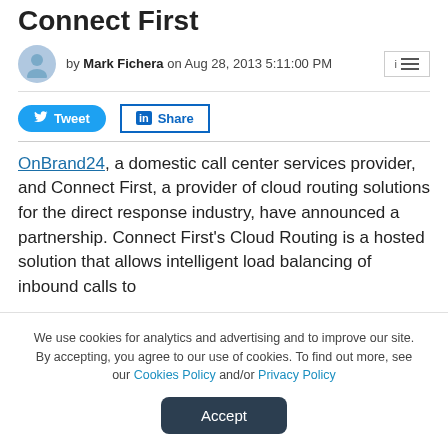Connect First
by Mark Fichera on Aug 28, 2013 5:11:00 PM
Tweet   Share
OnBrand24, a domestic call center services provider, and Connect First, a provider of cloud routing solutions for the direct response industry, have announced a partnership. Connect First's Cloud Routing is a hosted solution that allows intelligent load balancing of inbound calls to
We use cookies for analytics and advertising and to improve our site. By accepting, you agree to our use of cookies. To find out more, see our Cookies Policy and/or Privacy Policy